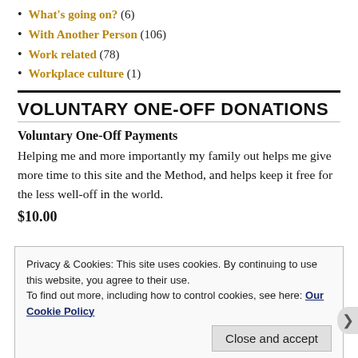What's going on? (6)
With Another Person (106)
Work related (78)
Workplace culture (1)
VOLUNTARY ONE-OFF DONATIONS
Voluntary One-Off Payments
Helping me and more importantly my family out helps me give more time to this site and the Method, and helps keep it free for the less well-off in the world.
$10.00
Privacy & Cookies: This site uses cookies. By continuing to use this website, you agree to their use.
To find out more, including how to control cookies, see here: Our Cookie Policy
Close and accept